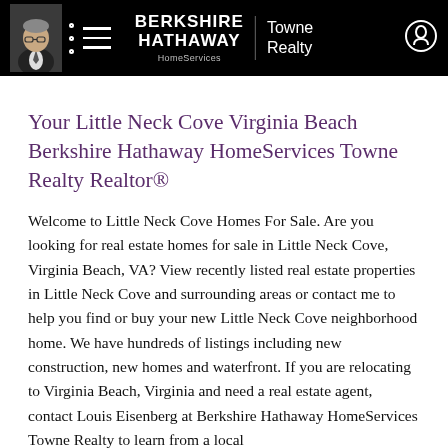BERKSHIRE HATHAWAY HomeServices | Towne Realty
Your Little Neck Cove Virginia Beach Berkshire Hathaway HomeServices Towne Realty Realtor®
Welcome to Little Neck Cove Homes For Sale. Are you looking for real estate homes for sale in Little Neck Cove, Virginia Beach, VA? View recently listed real estate properties in Little Neck Cove and surrounding areas or contact me to help you find or buy your new Little Neck Cove neighborhood home. We have hundreds of listings including new construction, new homes and waterfront. If you are relocating to Virginia Beach, Virginia and need a real estate agent, contact Louis Eisenberg at Berkshire Hathaway HomeServices Towne Realty to learn from a local...